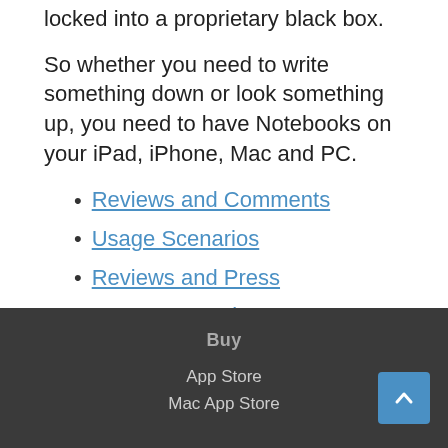locked into a proprietary black box.
So whether you need to write something down or look something up, you need to have Notebooks on your iPad, iPhone, Mac and PC.
Reviews and Comments
Usage Scenarios
Reviews and Press
Feature Overview
Buy
App Store
Mac App Store